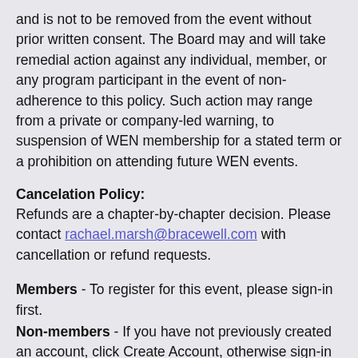and is not to be removed from the event without prior written consent. The Board may and will take remedial action against any individual, member, or any program participant in the event of non-adherence to this policy. Such action may range from a private or company-led warning, to suspension of WEN membership for a stated term or a prohibition on attending future WEN events.
Cancelation Policy:
Refunds are a chapter-by-chapter decision. Please contact rachael.marsh@bracewell.com with cancellation or refund requests.
Members - To register for this event, please sign-in first.
Non-members - If you have not previously created an account, click Create Account, otherwise sign-in to register.